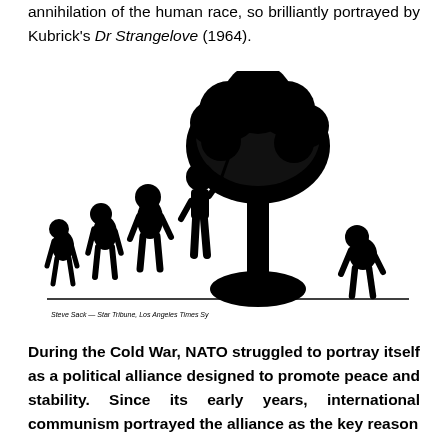annihilation of the human race, so brilliantly portrayed by Kubrick's Dr Strangelove (1964).
[Figure (illustration): A parody of the March of Progress evolution diagram. Silhouettes show the progression from hunched ape-like figures to upright human, but the final upright human (holding a spear) stands before a nuclear mushroom cloud, and the last figure after the explosion reverts to a hunched ape-like posture. Artist signature at bottom left reads 'Steve Sack' with publication details.]
During the Cold War, NATO struggled to portray itself as a political alliance designed to promote peace and stability. Since its early years, international communism portrayed the alliance as the key reason